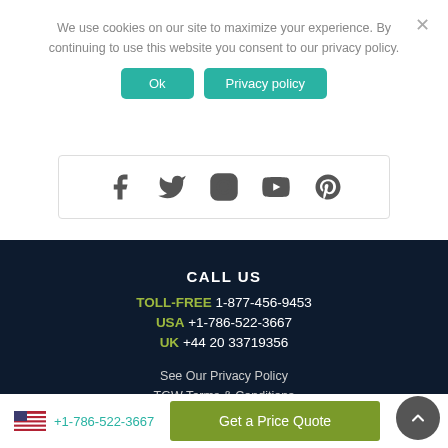We use cookies on our site to maximize your experience. By continuing to use this website you consent to our privacy policy.
Ok | Privacy policy
[Figure (other): Social media icons: Facebook, Twitter, Instagram, YouTube, Pinterest]
CALL US
TOLL-FREE 1-877-456-9453
USA +1-786-522-3667
UK +44 20 33719356
See Our Privacy Policy
TGW Terms & Conditions
+1-786-522-3667
Get a Price Quote